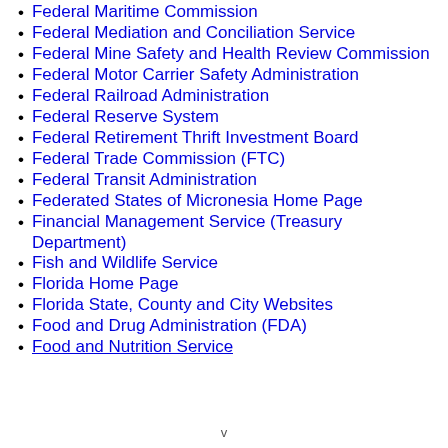Federal Maritime Commission
Federal Mediation and Conciliation Service
Federal Mine Safety and Health Review Commission
Federal Motor Carrier Safety Administration
Federal Railroad Administration
Federal Reserve System
Federal Retirement Thrift Investment Board
Federal Trade Commission (FTC)
Federal Transit Administration
Federated States of Micronesia Home Page
Financial Management Service (Treasury Department)
Fish and Wildlife Service
Florida Home Page
Florida State, County and City Websites
Food and Drug Administration (FDA)
Food and Nutrition Service